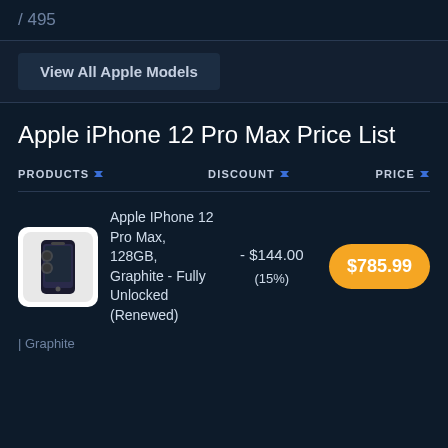/ 495
View All Apple Models
Apple iPhone 12 Pro Max Price List
| PRODUCTS | DISCOUNT | PRICE |
| --- | --- | --- |
| Apple IPhone 12 Pro Max, 128GB, Graphite - Fully Unlocked (Renewed) | - $144.00 (15%) | $785.99 |
| Graphite